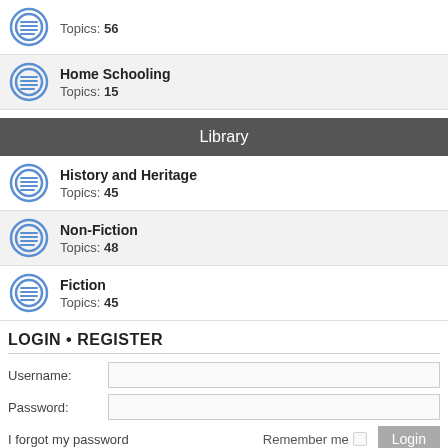Topics: 56
Home Schooling
Topics: 15
Library
History and Heritage
Topics: 45
Non-Fiction
Topics: 48
Fiction
Topics: 45
LOGIN • REGISTER
Username:
Password:
I forgot my password
Remember me
Login